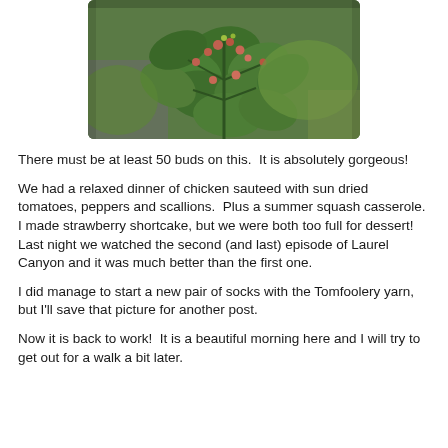[Figure (photo): A green plant with many buds and large leaves, photographed from above in an outdoor garden setting.]
There must be at least 50 buds on this.  It is absolutely gorgeous!
We had a relaxed dinner of chicken sauteed with sun dried tomatoes, peppers and scallions.  Plus a summer squash casserole.  I made strawberry shortcake, but we were both too full for dessert!  Last night we watched the second (and last) episode of Laurel Canyon and it was much better than the first one.
I did manage to start a new pair of socks with the Tomfoolery yarn, but I'll save that picture for another post.
Now it is back to work!  It is a beautiful morning here and I will try to get out for a walk a bit later.